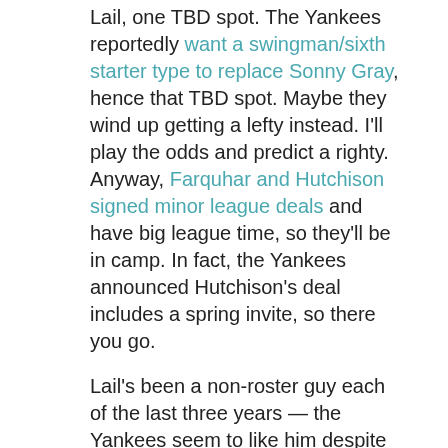Lail, one TBD spot. The Yankees reportedly want a swingman/sixth starter type to replace Sonny Gray, hence that TBD spot. Maybe they wind up getting a lefty instead. I'll play the odds and predict a righty. Anyway, Farquhar and Hutchison signed minor league deals and have big league time, so they'll be in camp. In fact, the Yankees announced Hutchison's deal includes a spring invite, so there you go.
Lail's been a non-roster guy each of the last three years — the Yankees seem to like him despite never calling him up or protecting him from the Rule 5 Draft — and I see no reason to think this spring will be any different. Espinal was a non-roster guy last year and he had a strong Triple-A season, so I think he's back as well. He's a potential inventory arm, someone who comes